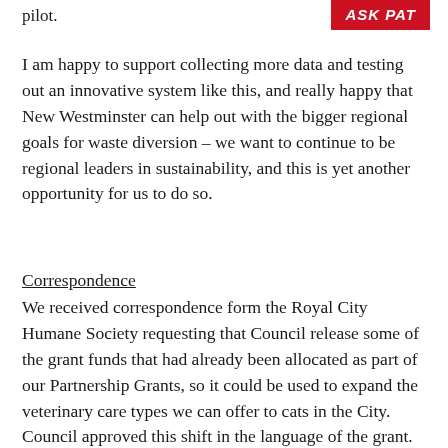pilot.
[Figure (logo): Red banner with white bold italic text reading 'ASK PAT']
I am happy to support collecting more data and testing out an innovative system like this, and really happy that New Westminster can help out with the bigger regional goals for waste diversion – we want to continue to be regional leaders in sustainability, and this is yet another opportunity for us to do so.
Correspondence
We received correspondence form the Royal City Humane Society requesting that Council release some of the grant funds that had already been allocated as part of our Partnership Grants, so it could be used to expand the veterinary care types we can offer to cats in the City. Council approved this shift in the language of the grant.